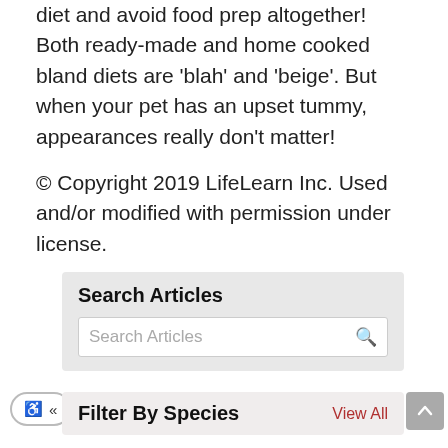diet and avoid food prep altogether! Both ready-made and home cooked bland diets are 'blah' and 'beige'. But when your pet has an upset tummy, appearances really don't matter!
© Copyright 2019 LifeLearn Inc. Used and/or modified with permission under license.
Search Articles
Search Articles
Filter By Species
View All